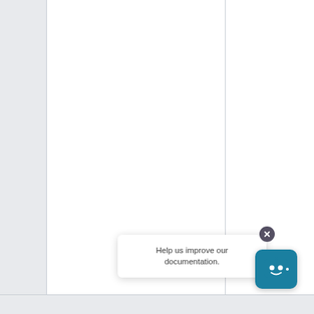[Figure (screenshot): A mostly blank document viewer with three columns (left sidebar, main content area, right panel) in light gray and white. A feedback tooltip popup at the bottom reads 'Help us improve our documentation.' with a close (X) button and a teal chatbot icon to the right.]
Help us improve our documentation.